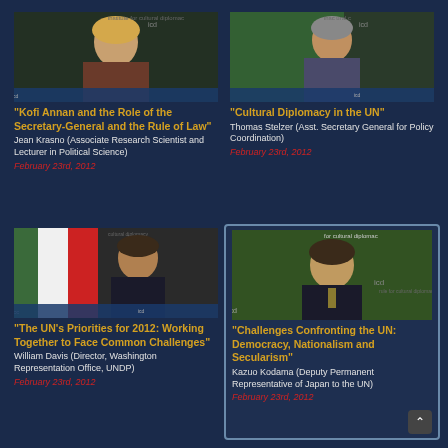[Figure (photo): Jean Krasno speaking at ICD event, blonde woman at podium]
"Kofi Annan and the Role of the Secretary-General and the Rule of Law"
Jean Krasno (Associate Research Scientist and Lecturer in Political Science)
February 23rd, 2012
[Figure (photo): Thomas Stelzer speaking at ICD event, grey-haired man in suit]
"Cultural Diplomacy in the UN"
Thomas Stelzer (Asst. Secretary General for Policy Coordination)
February 23rd, 2012
[Figure (photo): William Davis speaking at ICD event, man in dark suit with badge]
"The UN's Priorities for 2012: Working Together to Face Common Challenges"
William Davis (Director, Washington Representation Office, UNDP)
February 23rd, 2012
[Figure (photo): Kazuo Kodama speaking at ICD event, Japanese man in dark suit]
"Challenges Confronting the UN: Democracy, Nationalism and Secularism"
Kazuo Kodama (Deputy Permanent Representative of Japan to the UN)
February 23rd, 2012